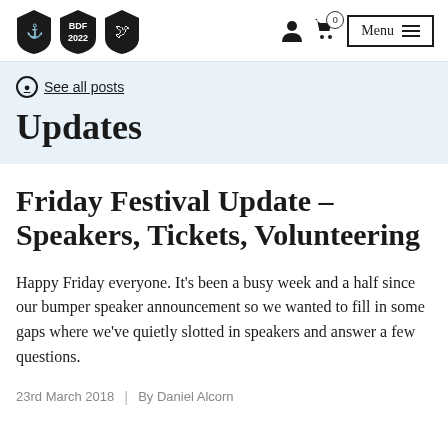BDF 2022 [logo] — Menu navigation with cart (0) and person icon
See all posts
Updates
Friday Festival Update – Speakers, Tickets, Volunteering
Happy Friday everyone. It's been a busy week and a half since our bumper speaker announcement so we wanted to fill in some gaps where we've quietly slotted in speakers and answer a few questions.
23rd March 2018  |  By Daniel Alcorn